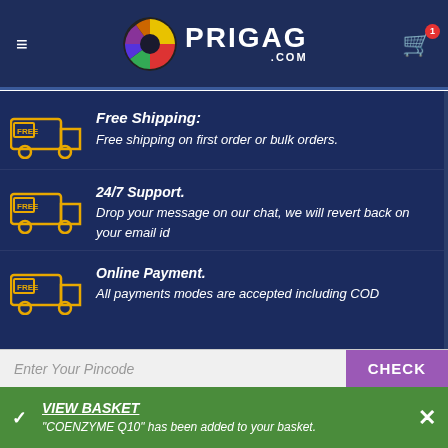PRIGAG.COM
Free Shipping: Free shipping on first order or bulk orders.
24/7 Support. Drop your message on our chat, we will revert back on your email id
Online Payment. All payments modes are accepted including COD
Enter Your Pincode
CHECK
VIEW BASKET
"COENZYME Q10" has been added to your basket.